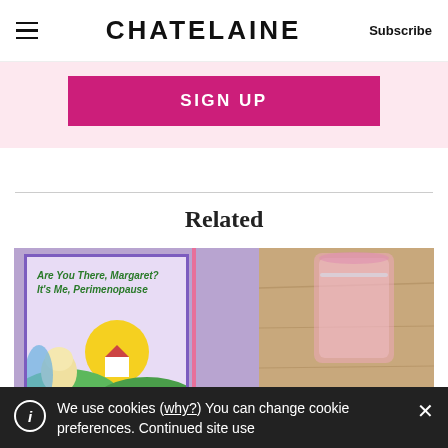CHATELAINE | Subscribe
SIGN UP
Related
[Figure (photo): Book cover 'Are You There, Margaret? It's Me, Perimenopause' with illustrated woman, house, and sun, next to a pink glass of water and glasses on a wooden surface]
We use cookies (why?) You can change cookie preferences. Continued site use